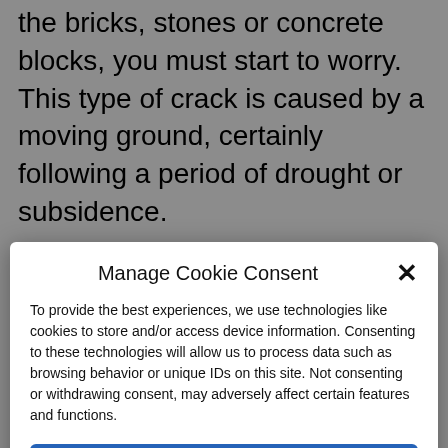the bricks, stones or concrete blocks, you must start to worry. This type of crack is caused by a moving ground, certainly following a period of drought or subsidence.
If your floor is moving, you might not notice the cracks first, but other signs can ring alarm bells and urge you to stay alert:
Manage Cookie Consent
To provide the best experiences, we use technologies like cookies to store and/or access device information. Consenting to these technologies will allow us to process data such as browsing behavior or unique IDs on this site. Not consenting or withdrawing consent, may adversely affect certain features and functions.
Accept